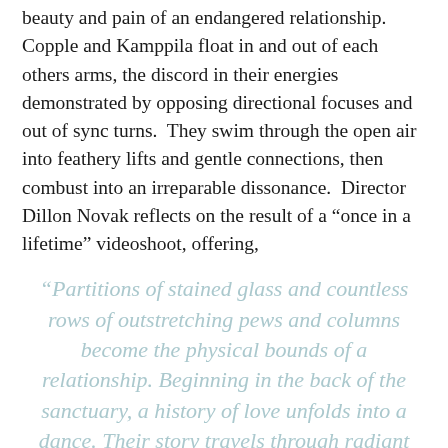beauty and pain of an endangered relationship.  Copple and Kamppila float in and out of each others arms, the discord in their energies demonstrated by opposing directional focuses and out of sync turns.  They swim through the open air into feathery lifts and gentle connections, then combust into an irreparable dissonance.  Director Dillon Novak reflects on the result of a “once in a lifetime” videoshoot, offering,
“Partitions of stained glass and countless rows of outstretching pews and columns become the physical bounds of a relationship. Beginning in the back of the sanctuary, a history of love unfolds into a dance. Their story travels through radiant light and crushing darkness, fighting their way